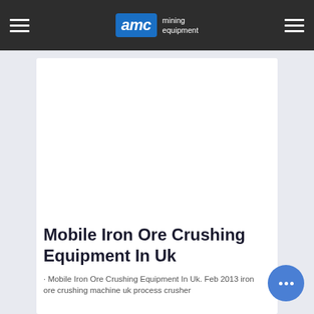AMC mining equipment
[Figure (other): White content card / advertisement area placeholder on light blue-grey background]
Mobile Iron Ore Crushing Equipment In Uk
· Mobile Iron Ore Crushing Equipment In Uk. Feb 2013 iron ore crushing machine uk process crusher